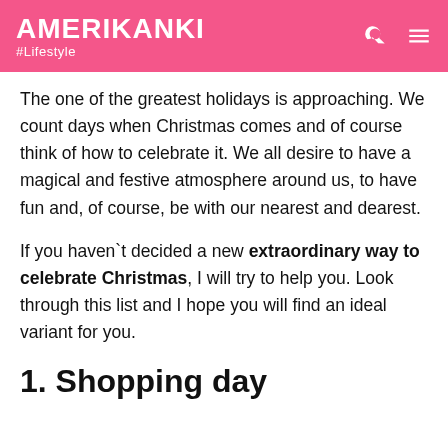AMERIKANKI #Lifestyle
The one of the greatest holidays is approaching. We count days when Christmas comes and of course think of how to celebrate it. We all desire to have a magical and festive atmosphere around us, to have fun and, of course, be with our nearest and dearest.
If you haven`t decided a new extraordinary way to celebrate Christmas, I will try to help you. Look through this list and I hope you will find an ideal variant for you.
1. Shopping day